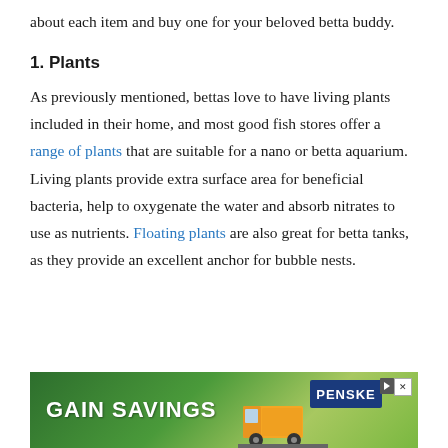about each item and buy one for your beloved betta buddy.
1. Plants
As previously mentioned, bettas love to have living plants included in their home, and most good fish stores offer a range of plants that are suitable for a nano or betta aquarium. Living plants provide extra surface area for beneficial bacteria, help to oxygenate the water and absorb nitrates to use as nutrients. Floating plants are also great for betta tanks, as they provide an excellent anchor for bubble nests.
[Figure (photo): Advertisement banner: GAIN SAVINGS text with a yellow truck on a road, Penske logo, play button and close button icons, green landscape background]